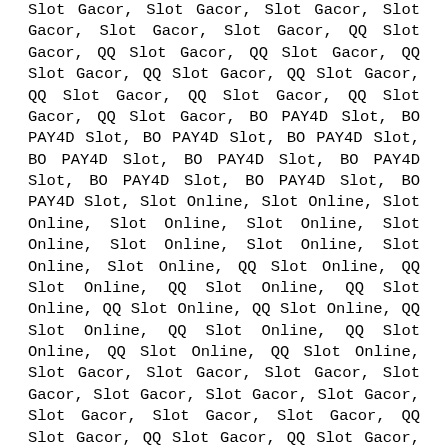Slot Gacor, Slot Gacor, Slot Gacor, Slot Gacor, Slot Gacor, Slot Gacor, QQ Slot Gacor, QQ Slot Gacor, QQ Slot Gacor, QQ Slot Gacor, QQ Slot Gacor, QQ Slot Gacor, QQ Slot Gacor, QQ Slot Gacor, QQ Slot Gacor, QQ Slot Gacor, QQ Slot Gacor, BO PAY4D Slot, BO PAY4D Slot, BO PAY4D Slot, BO PAY4D Slot, BO PAY4D Slot, BO PAY4D Slot, BO PAY4D Slot, BO PAY4D Slot, BO PAY4D Slot, BO PAY4D Slot, BO PAY4D Slot, Slot Online, Slot Online, Slot Online, Slot Online, Slot Online, Slot Online, Slot Online, Slot Online, Slot Online, Slot Online, QQ Slot Online, QQ Slot Online, QQ Slot Online, QQ Slot Online, QQ Slot Online, QQ Slot Online, QQ Slot Online, QQ Slot Online, QQ Slot Online, QQ Slot Online, Slot Gacor, Slot Gacor, Slot Gacor, Slot Gacor, Slot Gacor, Slot Gacor, Slot Gacor, Slot Gacor, Slot Gacor, Slot Gacor, QQ Slot Gacor, QQ Slot Gacor, QQ Slot Gacor, QQ Slot Gacor, QQ Slot Gacor, QQ Slot Gacor, QQ Slot Gacor, QQ Slot Gacor, QQ